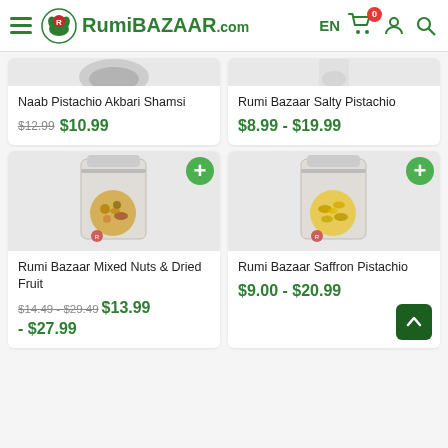RumiBazaar.com — EN, cart 0, user, search
[Figure (screenshot): Partially visible product card top: Naab Pistachio Akbari Shamsi]
[Figure (screenshot): Partially visible product card top: Rumi Bazaar Salty Pistachio]
Naab Pistachio Akbari Shamsi
$12.99  $10.99
Rumi Bazaar Salty Pistachio
$8.99 - $19.99
[Figure (photo): Rumi Bazaar Mixed Nuts & Dried Fruit product bag with mixed nuts visible through circular window]
Rumi Bazaar Mixed Nuts & Dried Fruit
$14.49 - $29.49  $13.99 - $27.99
[Figure (photo): Rumi Bazaar Saffron Pistachio product bag with yellow pistachios visible through circular window]
Rumi Bazaar Saffron Pistachio
$9.00 - $20.99